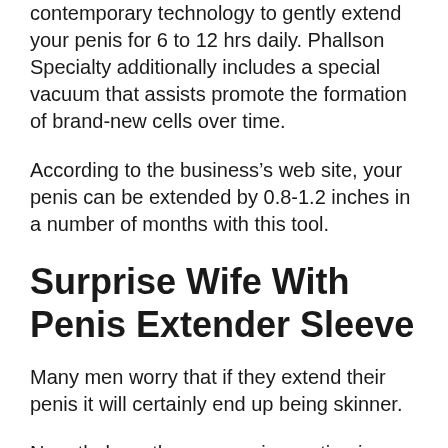contemporary technology to gently extend your penis for 6 to 12 hrs daily. Phallson Specialty additionally includes a special vacuum that assists promote the formation of brand-new cells over time.
According to the business’s web site, your penis can be extended by 0.8-1.2 inches in a number of months with this tool.
Surprise Wife With Penis Extender Sleeve
Many men worry that if they extend their penis it will certainly end up being skinner.
Nonetheless, the vacuum innovation in Phalloson Forte ensures that your penis not